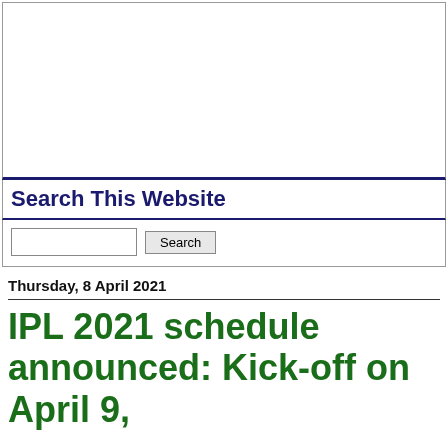[Figure (other): White banner/advertisement area at the top of the page]
Search This Website
Search (input field and button)
Thursday, 8 April 2021
IPL 2021 schedule announced: Kick-off on April 9,